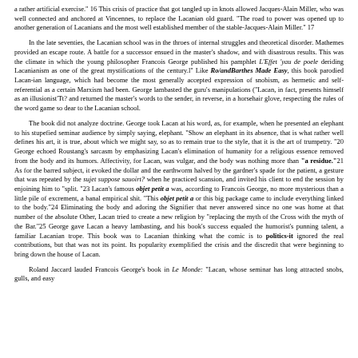a rather artificial exercise." 16 This crisis of practice that got tangled up in knots allowed Jacques-Alain Miller, who was well connected and anchored at Vincennes, to replace the Lacanian old guard. "The road to power was opened up to another generation of Lacanians and the most well established member of the stable-Jacques-Alain Miller." 17
In the late seventies, the Lacanian school was in the throes of internal struggles and theoretical disorder. Mathemes provided an escape route. A battle for a successor ensued in the master's shadow, and with disastrous results. This was the climate in which the young philosopher Francois George published his pamphlet L'Effet 'yau de poele deriding Lacanianism as one of the great mystifications of the century.l" Like Ro/andBarthes Made Easy, this book parodied Lacan-ian language, which had become the most generally accepted expression of snobism, as hermetic and self-referential as a certain Marxism had been. George lambasted the guru's manipulations ("Lacan, in fact, presents himself as an illusionist'Tt? and returned the master's words to the sender, in reverse, in a horsehair glove, respecting the rules of the word game so dear to the Lacanian school.
The book did not analyze doctrine. George took Lacan at his word, as, for example, when he presented an elephant to his stupefied seminar audience by simply saying, elephant. "Show an elephant in its absence, that is what rather well defines his art, it is true, about which we might say, so as to remain true to the style, that it is the art of trumpetry. "20 George echoed Roustang's sarcasm by emphasizing Lacan's elimination of humanity for a religious essence removed from the body and its humors. Affectivity, for Lacan, was vulgar, and the body was nothing more than "a residue."21 As for the barred subject, it evoked the dollar and the earthworm halved by the gardner's spade for the patient, a gesture that was repeated by the sujet suppose sauoirt? when he practiced scansion, and invited his client to end the session by enjoining him to "split. "23 Lacan's famous objet petit a was, according to Francois George, no more mysterious than a little pile of excrement, a banal empirical shit. "This objet petit a or this big package came to include everything linked to the body."24 Eliminating the body and adoring the Signifier that never answered since no one was home at that number of the absolute Other, Lacan tried to create a new religion by "replacing the myth of the Cross with the myth of the Bar."25 George gave Lacan a heavy lambasting, and his book's success equaled the humorist's punning talent, a familiar Lacanian trope. This book was to Lacanian thinking what the comic is to politics-it ignored the real contributions, but that was not its point. Its popularity exemplified the crisis and the discredit that were beginning to bring down the house of Lacan.
Roland Jaccard lauded Francois George's book in Le Monde: "Lacan, whose seminar has long attracted snobs, gulls, and easy